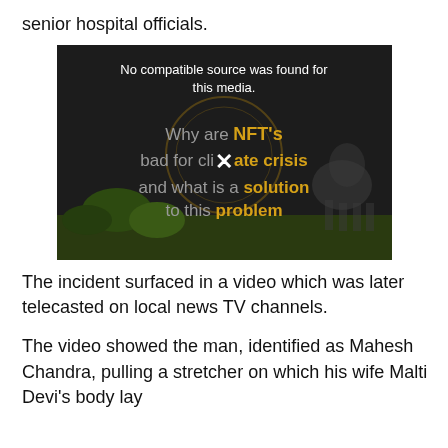senior hospital officials.
[Figure (screenshot): Embedded video player with black background showing error message 'No compatible source was found for this media.' overlaid on a video thumbnail with text: 'Why are NFT's bad for climate crisis and what is a solution to this problem']
The incident surfaced in a video which was later telecasted on local news TV channels.
The video showed the man, identified as Mahesh Chandra, pulling a stretcher on which his wife Malti Devi's body lay